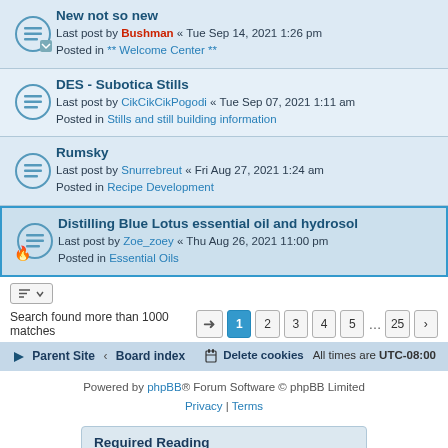New not so new — Last post by Bushman « Tue Sep 14, 2021 1:26 pm — Posted in ** Welcome Center **
DES - Subotica Stills — Last post by CikCikCikPogodi « Tue Sep 07, 2021 1:11 am — Posted in Stills and still building information
Rumsky — Last post by Snurrebreut « Fri Aug 27, 2021 1:24 am — Posted in Recipe Development
Distilling Blue Lotus essential oil and hydrosol — Last post by Zoe_zoey « Thu Aug 26, 2021 11:00 pm — Posted in Essential Oils
Search found more than 1000 matches
Parent Site · Board index · Delete cookies · All times are UTC-08:00
Powered by phpBB® Forum Software © phpBB Limited
Privacy | Terms
Required Reading
The Rules By Which We Live